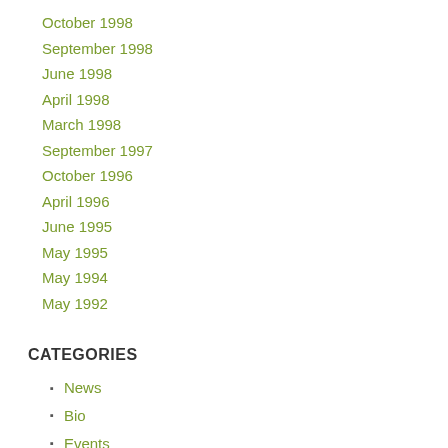October 1998
September 1998
June 1998
April 1998
March 1998
September 1997
October 1996
April 1996
June 1995
May 1995
May 1994
May 1992
CATEGORIES
News
Bio
Events
Shop
Radio